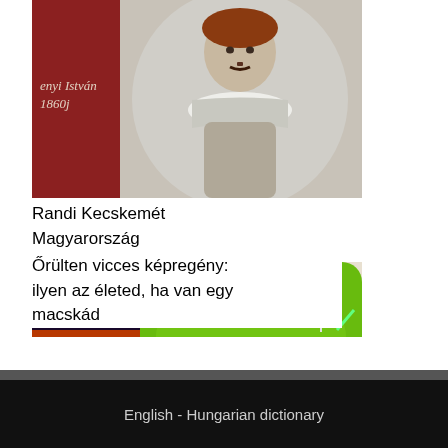[Figure (photo): Partial view of a historical portrait painting showing a man with a mustache and ruffled collar, with text 'enyi István 1860j' visible on the left side]
Randi Kecskemét Magyarország
[Figure (photo): Collage image showing multiple pillow/cushion thumbnails including a Jedi Jesus themed green pillow and other designs]
Őrülten vicces képregény: ilyen az életed, ha van egy macskád
Oldaltérkép
English - Hungarian dictionary